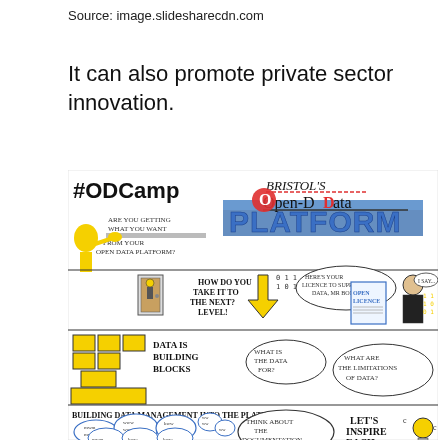Source: image.slidesharecdn.com
It can also promote private sector innovation.
[Figure (illustration): Hand-drawn sketch infographic about #ODCamp Bristol's Open-Data Platform. Contains text elements: '#ODCamp', 'BRISTOL'S Open-Data', 'PLATFORM', 'ARE YOU GETTING WHAT YOU WANT FROM YOUR OPEN DATA PLATFORM?', 'HOW DO YOU TAKE IT TO THE NEXT LEVEL?', 'HERE'S YOUR LICENCE TO SUPPLY OPEN DATA, MR BOND', 'OPEN LICENCE', 'I SAY...', 'DATA IS BUILDING BLOCKS', 'WHAT IS THE DATA FOR?', 'WHAT ARE THE LIMITATIONS OF DATA?', 'BUILDING DATA MANAGEMENT INTO THE PLATFORM', 'THINK ABOUT THE DOCUMENTATION', 'LET'S INSPIRE EACH OTHER'. Features cartoon characters, yellow building blocks, arrows, speech bubbles, and a lightbulb.]